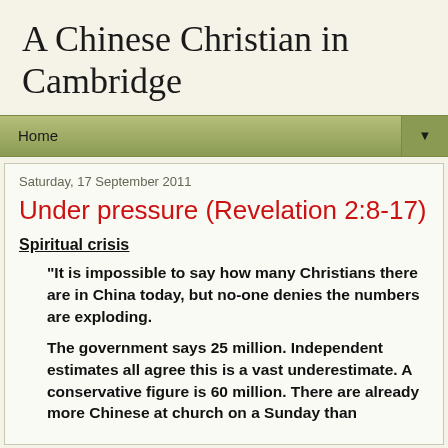A Chinese Christian in Cambridge
Home
Saturday, 17 September 2011
Under pressure (Revelation 2:8-17)
Spiritual crisis
“It is impossible to say how many Christians there are in China today, but no-one denies the numbers are exploding.
The government says 25 million. Independent estimates all agree this is a vast underestimate. A conservative figure is 60 million. There are already more Chinese at church on a Sunday than